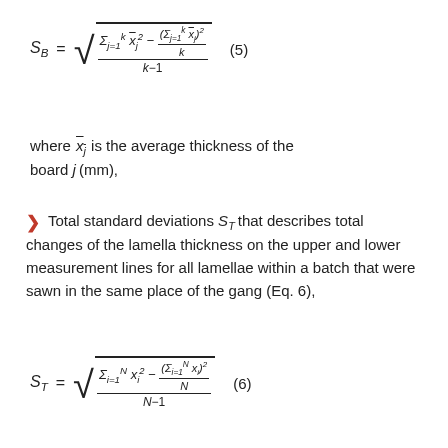where x̄_j is the average thickness of the board j (mm),
Total standard deviations S_T that describes total changes of the lamella thickness on the upper and lower measurement lines for all lamellae within a batch that were sawn in the same place of the gang (Eq. 6),